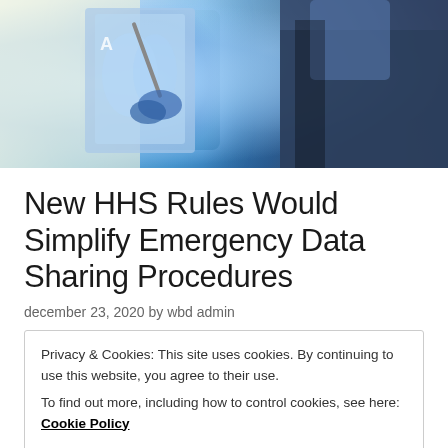[Figure (photo): Doctor in white coat holding and examining X-ray images against light, wearing blue gloves, partial face visible]
New HHS Rules Would Simplify Emergency Data Sharing Procedures
december 23, 2020 by wbd admin
Privacy & Cookies: This site uses cookies. By continuing to use this website, you agree to their use.
To find out more, including how to control cookies, see here: Cookie Policy
Close and accept
discussed would provide patients affirmative legal